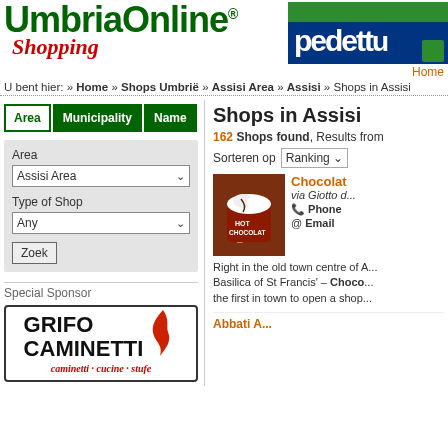UmbriaOnline Shopping | Pedetti logo | Home
U bent hier: » Home » Shops Umbrië » Assisi Area » Assisi » Shops in Assisi
Area | Municipality | Name (tabs)
Area: Assisi Area, Type of Shop: Any, Zoek button
Special Sponsor
[Figure (logo): Grifo Caminetti advertisement: GRIFO CAMINETTI with flame logo, subtitle: caminetti · cucine · stufe]
Shops in Assisi
162 Shops found, Results from...
Sorteren op: Ranking
Chocolat... via Giotto ... Phone... Email...
Right in the old town centre of A... Basilica of St Francis' – Choco... the first in town to open a shop...
Abbati A...